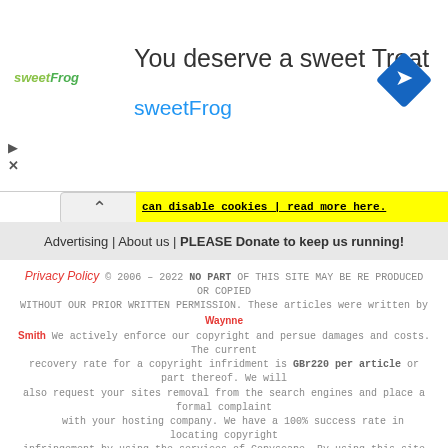[Figure (other): SweetFrog advertisement banner with logo, headline 'You deserve a sweet Treat', brand name 'sweetFrog', and a diamond-shaped navigation icon]
can disable cookies | read more here.
Advertising | About us | PLEASE Donate to keep us running!
Privacy Policy © 2006 – 2022 NO PART OF THIS SITE MAY BE RE PRODUCED OR COPIED WITHOUT OUR PRIOR WRITTEN PERMISSION. These articles were written by Waynne Smith. We actively enforce our copyright and persue damages and costs. The current recovery rate for a copyright infridment is GBr220 per article or part thereof. We will also request your sites removal from the search engines and place a formal complaint with your hosting company. We have a 100% success rate in locating copyright infringement by using the services of Copyscape. By using this site you agree to be bound to this agreement and accept that the jurisdiction of the UK courts applies. COOKIES: This site uses cookies to remember your settings and monitor visitor behaviour anonymously to allow us to improve the site and highlight areas where we can improve. In addition our advertising partners use cookies in accordance with their respective privacy policies to provide adverts of most interest to you based on sites you visit and search terms and collate interest based statistics to do so. You can opt out of our advertisers cookies by following this link or by disabling cookies in your browser. Read our privacy policy here